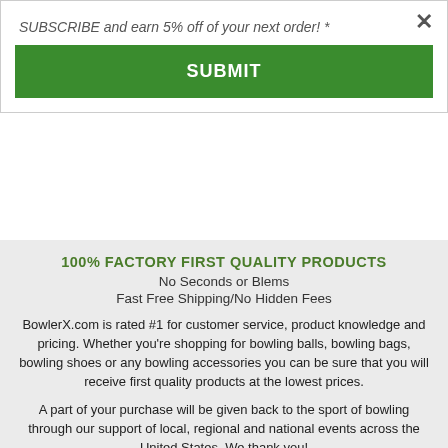SUBSCRIBE and earn 5% off of your next order! *
SUBMIT
100% FACTORY FIRST QUALITY PRODUCTS
No Seconds or Blems
Fast Free Shipping/No Hidden Fees
BowlerX.com is rated #1 for customer service, product knowledge and pricing. Whether you’re shopping for bowling balls, bowling bags, bowling shoes or any bowling accessories you can be sure that you will receive first quality products at the lowest prices.
A part of your purchase will be given back to the sport of bowling through our support of local, regional and national events across the United States. We thank you!
We are an authorized dealer for all of the brands that